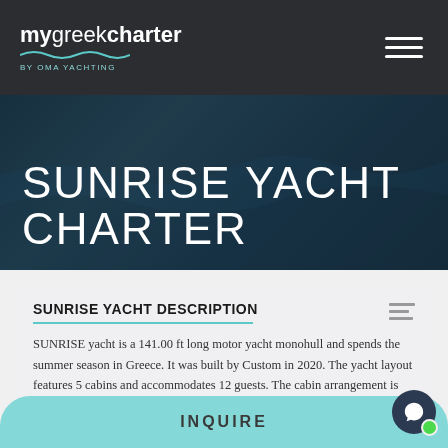mygreekcharter by OMA YACHTING
SUNRISE YACHT CHARTER
SUNRISE YACHT DESCRIPTION
SUNRISE yacht is a 141.00 ft long motor yacht monohull and spends the summer season in Greece. It was built by Custom in 2020. The yacht layout features 5 cabins and accommodates 12 guests. The cabin arrangement is following: 1 king cabin, 2
INQUIRE